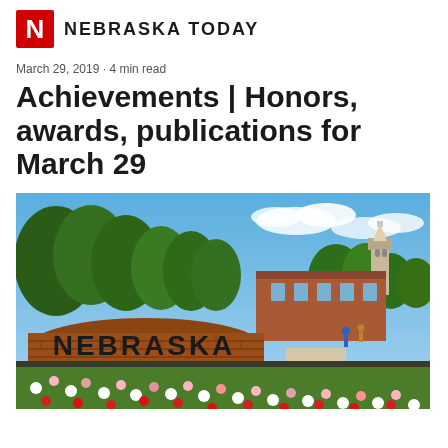NEBRASKA TODAY
March 29, 2019 · 4 min read
Achievements | Honors, awards, publications for March 29
[Figure (photo): Outdoor photo of the University of Nebraska campus showing the brick Nebraska entrance sign surrounded by colorful flowers, with trees, a brick building, and a white bell tower in the background under a blue sky.]